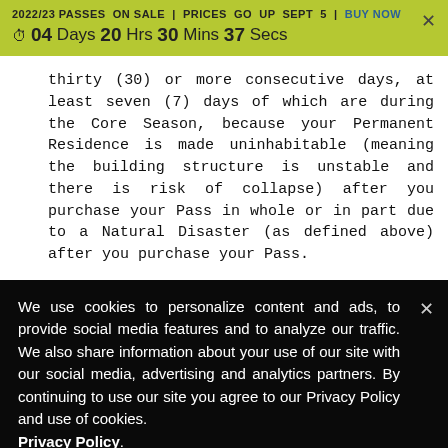2022/23 PASSES ON SALE | PRICES GO UP SEPT 5 | BUY NOW
⏱ 04 Days 20 Hrs 30 Mins 37 Secs
thirty (30) or more consecutive days, at least seven (7) days of which are during the Core Season, because your Permanent Residence is made uninhabitable (meaning the building structure is unstable and there is risk of collapse) after you purchase your Pass in whole or in part due to a Natural Disaster (as defined above) after you purchase your Pass.
We use cookies to personalize content and ads, to provide social media features and to analyze our traffic. We also share information about your use of our site with our social media, advertising and analytics partners. By continuing to use our site you agree to our Privacy Policy and use of cookies. Privacy Policy.
OK